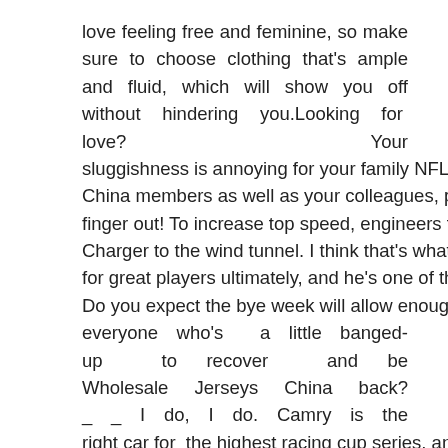love feeling free and feminine, so make sure to choose clothing that's ample and fluid, which will show you off without hindering you.Looking for love? Your sluggishness is annoying for your family NFL Jerseys China members as well as your colleagues, pull your finger out! To increase top speed, engineers took the Charger to the wind tunnel. I think that's what makes for great players ultimately, and he's one of those guys. Do you expect the bye week will allow enough time for everyone who's a little banged-up to recover and be Wholesale Jerseys China back?_ _ I do, I do. Camry is the right car for the highest racing cup series, and we don't have any plans to change that, said David Wilson, the president Cheap Jerseys Free Shipping and general manager of Toyota Racing Development .
Tocchet spent one season as an assistant with the Coyotes in 2005 before joining the Tampa Bay